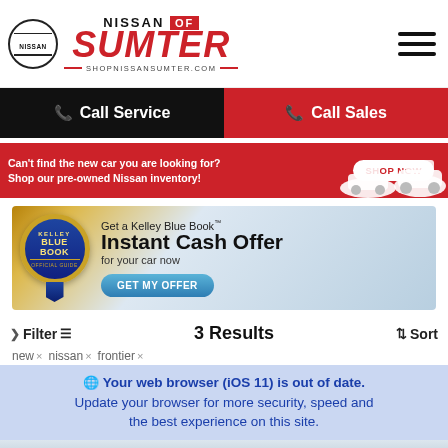[Figure (logo): Nissan of Sumter dealership logo with Nissan circle emblem, NISSAN OF text, large red SUMTER text, and website SHOPNISSANSUMTER.COM]
[Figure (other): Hamburger menu icon with three horizontal lines]
Call Service
Call Sales
Can't find the new car you are looking for? Shop our pre-owned Nissan inventory!
[Figure (infographic): Red banner advertising pre-owned Nissan inventory with SHOP NOW button and white car images on right]
[Figure (infographic): Kelley Blue Book Instant Cash Offer banner with KBB badge, text 'Get a Kelley Blue Book Instant Cash Offer for your car now' and GET MY OFFER button]
Filter
3 Results
Sort
new × nissan × frontier ×
Your web browser (iOS 11) is out of date. Update your browser for more security, speed and the best experience on this site.